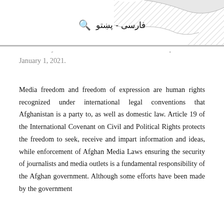🔍 فارسی - پښتو
...a radio journalist who was killed in Kunduz province on January 1, 2021.
Media freedom and freedom of expression are human rights recognized under international legal conventions that Afghanistan is a party to, as well as domestic law. Article 19 of the International Covenant on Civil and Political Rights protects the freedom to seek, receive and impart information and ideas, while enforcement of Afghan Media Laws ensuring the security of journalists and media outlets is a fundamental responsibility of the Afghan government. Although some efforts have been made by the government to protect and uphold these rights, they have not been...